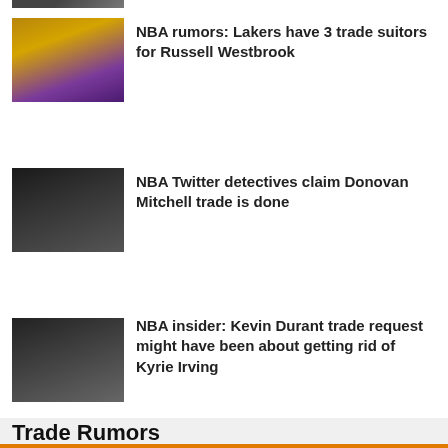[Figure (photo): Partially visible sports photo at top of page (cropped)]
[Figure (photo): Russell Westbrook in Lakers yellow jersey number 0, dribbling basketball]
NBA rumors: Lakers have 3 trade suitors for Russell Westbrook
[Figure (photo): Donovan Mitchell in Utah Jazz jersey number 45, holding basketball]
NBA Twitter detectives claim Donovan Mitchell trade is done
[Figure (photo): Kevin Durant and Kyrie Irving in Brooklyn Nets jerseys]
NBA insider: Kevin Durant trade request might have been about getting rid of Kyrie Irving
Trade Rumors
[Figure (photo): Partially visible sports photo at bottom of page (cropped)]
NBA rumors: Pelicans wouldn't trade Brandon